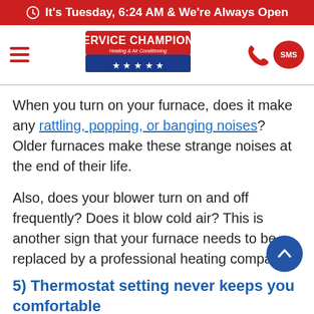It's Tuesday, 6:24 AM & We're Always Open
[Figure (logo): Service Champions Heating & Air Conditioning logo with red/blue badge and five stars]
When you turn on your furnace, does it make any rattling, popping, or banging noises? Older furnaces make these strange noises at the end of their life.
Also, does your blower turn on and off frequently? Does it blow cold air? This is another sign that your furnace needs to be replaced by a professional heating company.
5) Thermostat setting never keeps you comfortable